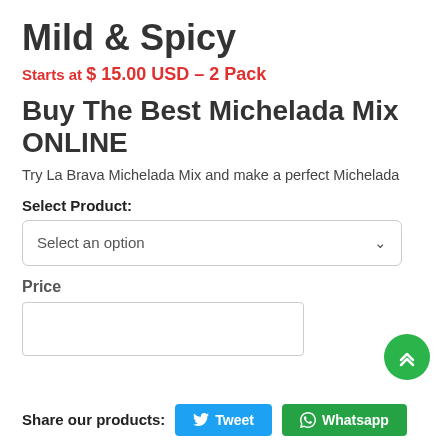Mild & Spicy
Starts at $ 15.00 USD – 2 Pack
Buy The Best Michelada Mix ONLINE
Try La Brava Michelada Mix and make a perfect Michelada
Select Product:
Select an option
Price
Share our products:
Tweet
Whatsapp